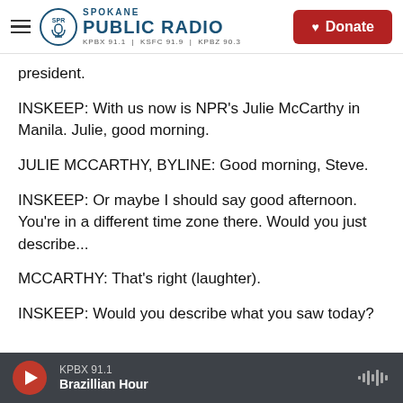Spokane Public Radio — KPBX 91.1 | KSFC 91.9 | KPBZ 90.3 — Donate
president.
INSKEEP: With us now is NPR's Julie McCarthy in Manila. Julie, good morning.
JULIE MCCARTHY, BYLINE: Good morning, Steve.
INSKEEP: Or maybe I should say good afternoon. You're in a different time zone there. Would you just describe...
MCCARTHY: That's right (laughter).
INSKEEP: Would you describe what you saw today?
KPBX 91.1 — Brazillian Hour